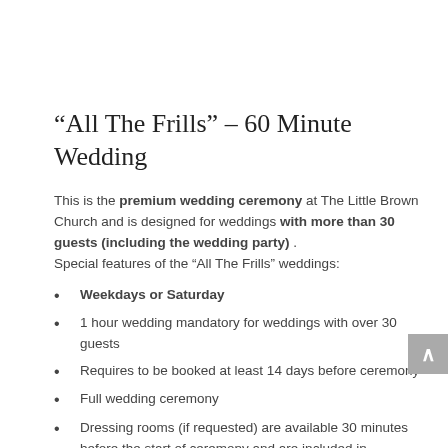“All The Frills” – 60 Minute Wedding
This is the premium wedding ceremony at The Little Brown Church and is designed for weddings with more than 30 guests (including the wedding party) . Special features of the “All The Frills” weddings:
Weekdays or Saturday
1 hour wedding mandatory for weddings with over 30 guests
Requires to be booked at least 14 days before ceremony
Full wedding ceremony
Dressing rooms (if requested) are available 30 minutes before the start of ceremony and are included in